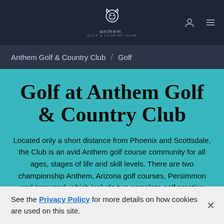Anthem Golf & Country Club [logo/nav]
Anthem Golf & Country Club / Golf
Golf at Anthem Golf & Country Club
Located only a short distance from Phoenix and Scottsdale, the Club is an avid Anthem golf course community for all ages, stages of life and skill levels. There are two championship Anthem, Arizona golf courses, Persimmon and Ironwood, which include two complete golf practice facilities, both double-ended for hitting, chipping, sand play
See the Privacy Policy for more details on how cookies are used on this site.